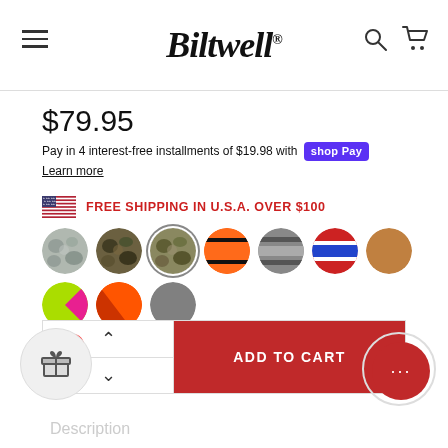Biltwell®
$79.95
Pay in 4 interest-free installments of $19.98 with shop Pay
Learn more
FREE SHIPPING IN U.S.A. OVER $100
[Figure (other): 10 color swatch circles arranged in 2 rows: grey camo, dark camo, selected tan/green camo (with ring), orange stripe, grey stripe, red/blue stripe, tan/brown, lime/pink, orange, grey]
[Figure (other): Add to cart bar with quantity up/down arrows on left and red ADD TO CART button on right]
Description